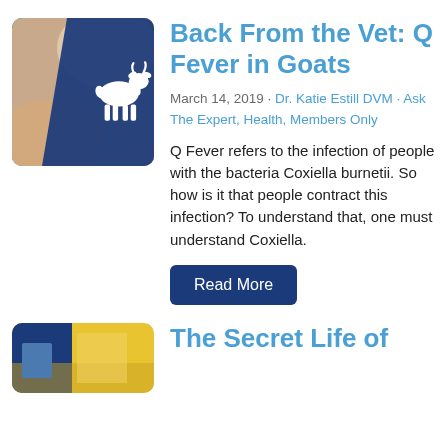[Figure (photo): Thumbnail image: a goat being held, with a dark blue square overlay showing a white goat silhouette icon]
Back From the Vet: Q Fever in Goats
March 14, 2019 · Dr. Katie Estill DVM · Ask The Expert, Health, Members Only
Q Fever refers to the infection of people with the bacteria Coxiella burnetii. So how is it that people contract this infection? To understand that, one must understand Coxiella.
Read More
[Figure (photo): Thumbnail image partially visible at bottom, colorful scene]
The Secret Life of